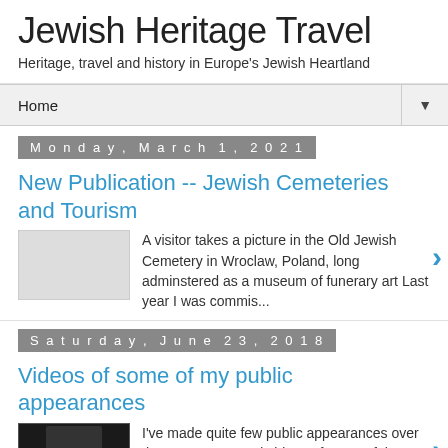Jewish Heritage Travel
Heritage, travel and history in Europe's Jewish Heartland
Home ▼
Monday, March 1, 2021
New Publication -- Jewish Cemeteries and Tourism
[Figure (photo): Thumbnail placeholder image (light gray)]
A visitor takes a picture in the Old Jewish Cemetery in Wroclaw, Poland, long adminstered as a museum of funerary art Last year I was commis...
Saturday, June 23, 2018
Videos of some of my public appearances
[Figure (photo): Dark thumbnail image of a person]
I've made quite few public appearances over the past year -- and videos of some of them are